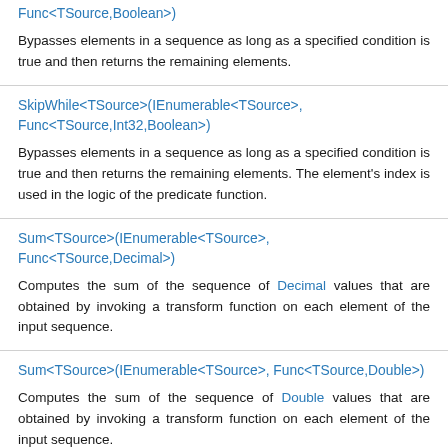Func<TSource,Boolean>)
Bypasses elements in a sequence as long as a specified condition is true and then returns the remaining elements.
SkipWhile<TSource>(IEnumerable<TSource>, Func<TSource,Int32,Boolean>)
Bypasses elements in a sequence as long as a specified condition is true and then returns the remaining elements. The element's index is used in the logic of the predicate function.
Sum<TSource>(IEnumerable<TSource>, Func<TSource,Decimal>)
Computes the sum of the sequence of Decimal values that are obtained by invoking a transform function on each element of the input sequence.
Sum<TSource>(IEnumerable<TSource>, Func<TSource,Double>)
Computes the sum of the sequence of Double values that are obtained by invoking a transform function on each element of the input sequence.